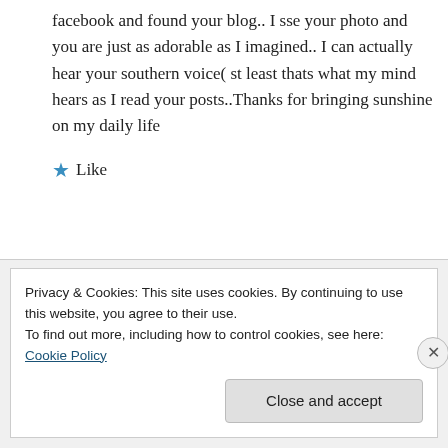facebook and found your blog.. I sse your photo and you are just as adorable as I imagined.. I can actually hear your southern voice( st least thats what my mind hears as I read your posts..Thanks for bringing sunshine on my daily life
★ Like
↳ Reply
Privacy & Cookies: This site uses cookies. By continuing to use this website, you agree to their use.
To find out more, including how to control cookies, see here: Cookie Policy
Close and accept